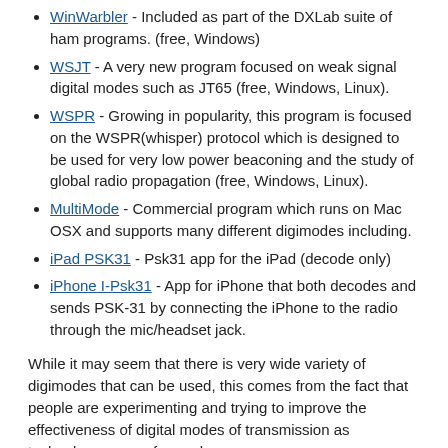WinWarbler - Included as part of the DXLab suite of ham programs. (free, Windows)
WSJT - A very new program focused on weak signal digital modes such as JT65 (free, Windows, Linux).
WSPR - Growing in popularity, this program is focused on the WSPR(whisper) protocol which is designed to be used for very low power beaconing and the study of global radio propagation (free, Windows, Linux).
MultiMode - Commercial program which runs on Mac OSX and supports many different digimodes including.
iPad PSK31 - Psk31 app for the iPad (decode only)
iPhone I-Psk31 - App for iPhone that both decodes and sends PSK-31 by connecting the iPhone to the radio through the mic/headset jack.
While it may seem that there is very wide variety of digimodes that can be used, this comes from the fact that people are experimenting and trying to improve the effectiveness of digital modes of transmission as technology moves forward.
While there are many digimodes to choose from, the situation may not be as difficult as many may imagine because it is often possible to receive and send a large number of types of transmission using a single interface. Most digital ham software supports many different modes so it